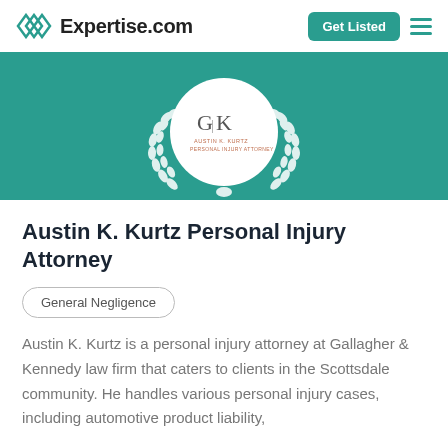Expertise.com | Get Listed
[Figure (logo): GK Austin K. Kurtz Personal Injury Attorney logo inside a white circle with laurel wreath, on teal background]
Austin K. Kurtz Personal Injury Attorney
General Negligence
Austin K. Kurtz is a personal injury attorney at Gallagher & Kennedy law firm that caters to clients in the Scottsdale community. He handles various personal injury cases, including automotive product liability,